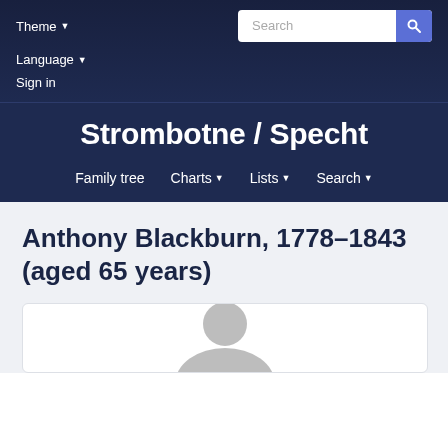Theme ▾
Search
Language ▾
Sign in
Strombotne / Specht
Family tree  Charts ▾  Lists ▾  Search ▾
Anthony Blackburn, 1778–1843 (aged 65 years)
[Figure (photo): Partial silhouette/avatar image of a person at the bottom of the page]